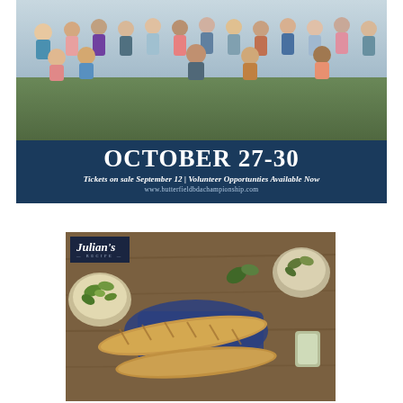[Figure (photo): Advertisement banner for Butterfield Bda Championship golf event. Top portion shows a large group photo of men in golf attire, smiling and celebrating outdoors. Bottom dark navy blue banner reads 'OCTOBER 27-30' in large bold white serif font, with subtext 'Tickets on sale September 12 | Volunteer Opportunties Available Now' and website URL 'www.butterfieldbdachampionship.com'.]
[Figure (photo): Advertisement photo for Julian's Recipe brand. Shows food items including a long baguette/sub loaf, green salads in bowls, on a wooden table with dark blue linen napkin. Julian's Recipe logo in top left corner on dark navy background.]